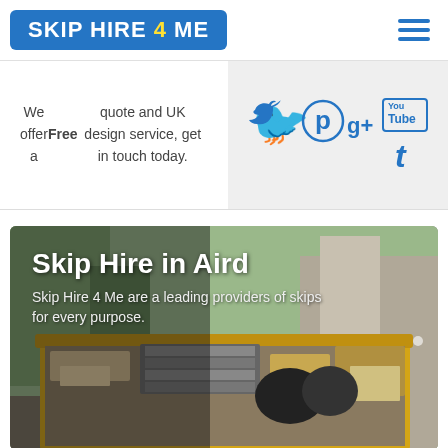[Figure (logo): Skip Hire 4 Me logo — blue rounded rectangle with white bold uppercase text SKIP HIRE 4 ME, the '4' in yellow]
We offer a Free quote and UK design service, get in touch today.
[Figure (infographic): Social media icons row: Twitter bird, Pinterest P, Google G+, YouTube logo, Tumblr t — all in blue on grey background]
[Figure (photo): Photo of a yellow skip/dumpster filled with rubbish and waste materials, outdoors]
Skip Hire in Aird
Skip Hire 4 Me are a leading providers of skips for every purpose.